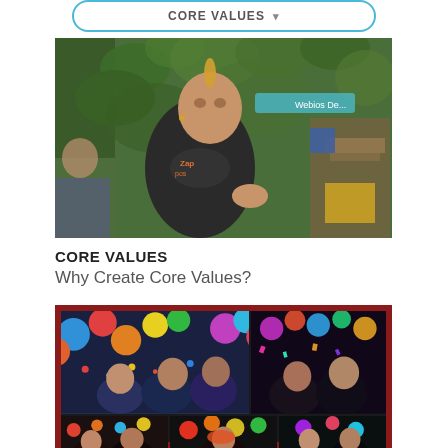CORE VALUES
[Figure (photo): Man with mohawk hairstyle wearing a dark t-shirt with orange text, standing in front of a lush green plant wall in an office environment, gesturing with his hand]
CORE VALUES
Why Create Core Values?
[Figure (photo): Collage of party/celebration photos with colorful balloons, confetti, and groups of people at what appears to be a Zappos company event. Dark red border frame with multiple photo panels.]